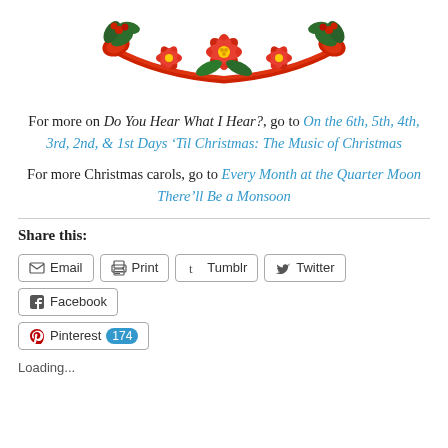[Figure (illustration): Christmas floral decoration with red poinsettia flowers, holly leaves, red ribbon swag, centered at top of page]
For more on Do You Hear What I Hear?, go to On the 6th, 5th, 4th, 3rd, 2nd, & 1st Days 'Til Christmas: The Music of Christmas
For more Christmas carols, go to Every Month at the Quarter Moon There'll Be a Monsoon
Share this:
Email  Print  Tumblr  Twitter  Facebook  Pinterest 174
Loading...